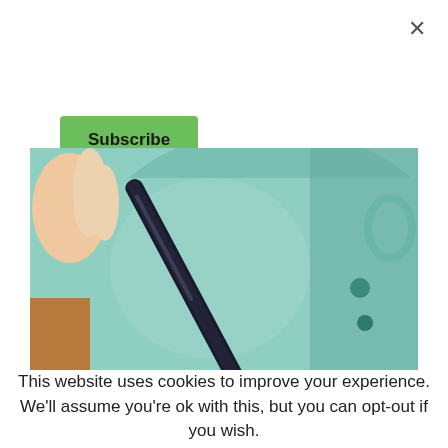×
Subscribe
[Figure (photo): Close-up photo of a black spoon or tool being inserted into or held near a green ceramic mug or vessel with holes, placed on a wooden surface.]
This website uses cookies to improve your experience. We'll assume you're ok with this, but you can opt-out if you wish.
Accept
Read More